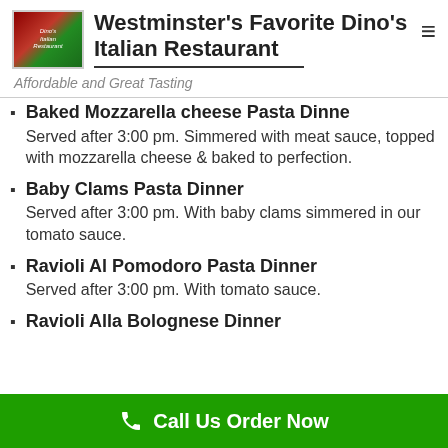Westminster's Favorite Dino's Italian Restaurant
Affordable and Great Tasting
Baked Mozzarella cheese Pasta Dinne — Served after 3:00 pm. Simmered with meat sauce, topped with mozzarella cheese & baked to perfection.
Baby Clams Pasta Dinner — Served after 3:00 pm. With baby clams simmered in our tomato sauce.
Ravioli Al Pomodoro Pasta Dinner — Served after 3:00 pm. With tomato sauce.
Ravioli Alla Bolognese Dinner
Call Us Order Now